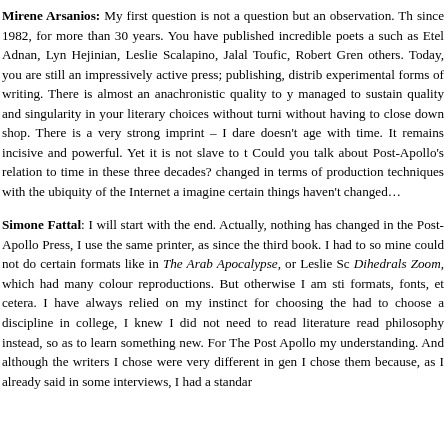Mirene Arsanios: My first question is not a question but an observation. Th since 1982, for more than 30 years. You have published incredible poets a such as Etel Adnan, Lyn Hejinian, Leslie Scalapino, Jalal Toufic, Robert Gren others. Today, you are still an impressively active press; publishing, distrib experimental forms of writing. There is almost an anachronistic quality to y managed to sustain quality and singularity in your literary choices without turni without having to close down shop. There is a very strong imprint – I dare doesn't age with time. It remains incisive and powerful. Yet it is not slave to t Could you talk about Post-Apollo's relation to time in these three decades? changed in terms of production techniques with the ubiquity of the Internet a imagine certain things haven't changed…
Simone Fattal: I will start with the end. Actually, nothing has changed in the Post-Apollo Press, I use the same printer, as since the third book. I had to so mine could not do certain formats like in The Arab Apocalypse, or Leslie Sc Dihedrals Zoom, which had many colour reproductions. But otherwise I am sti formats, fonts, et cetera. I have always relied on my instinct for choosing the had to choose a discipline in college, I knew I did not need to read literature read philosophy instead, so as to learn something new. For The Post Apollo my understanding. And although the writers I chose were very different in gen I chose them because, as I already said in some interviews, I had a standar